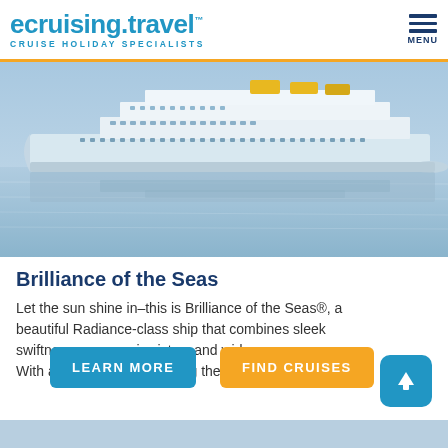ecruising.travel™ CRUISE HOLIDAY SPECIALISTS MENU
[Figure (photo): Cruise ship (Brilliance of the Seas) photographed from above/side on blue water, with reflection visible in the water below]
Brilliance of the Seas
Let the sun shine in–this is Brilliance of the Seas®, a beautiful Radiance-class ship that combines sleek swiftness, panoramic vistas, and wide-open spaces. With acres of glass enclosing the nine-stor...
LEARN MORE
FIND CRUISES